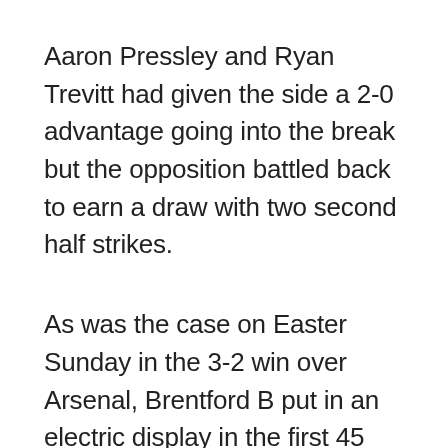Aaron Pressley and Ryan Trevitt had given the side a 2-0 advantage going into the break but the opposition battled back to earn a draw with two second half strikes.
As was the case on Easter Sunday in the 3-2 win over Arsenal, Brentford B put in an electric display in the first 45 minutes with a host of chances created.
It took the side six minutes to create their first real opportunity as one of the